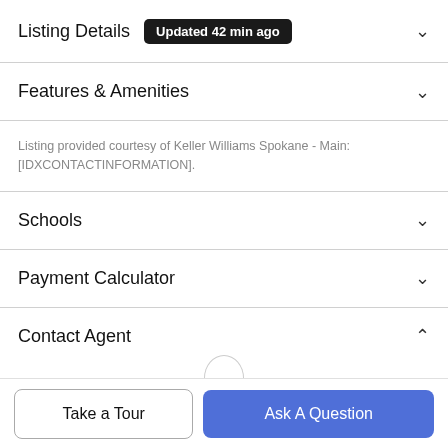Listing Details Updated 42 min ago
Features & Amenities
Listing provided courtesy of Keller Williams Spokane - Main: [IDXCONTACTINFORMATION].
Schools
Payment Calculator
Contact Agent
Take a Tour
Ask A Question